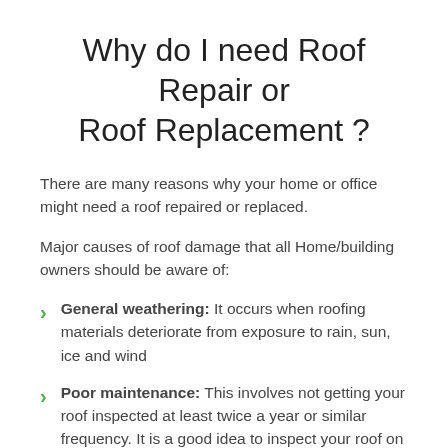Why do I need Roof Repair or Roof Replacement ?
There are many reasons why your home or office might need a roof repaired or replaced.
Major causes of roof damage that all Home/building owners should be aware of:
General weathering: It occurs when roofing materials deteriorate from exposure to rain, sun, ice and wind
Poor maintenance: This involves not getting your roof inspected at least twice a year or similar frequency. It is a good idea to inspect your roof on a regular basis and take care of minor issues before